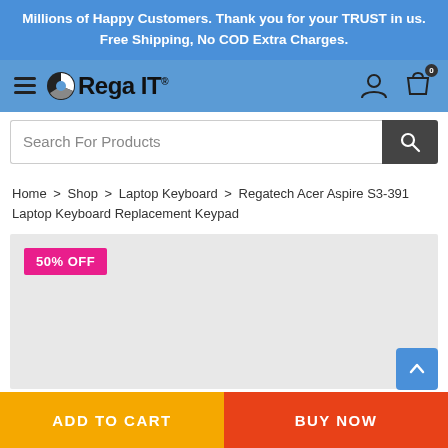Millions of Happy Customers. Thank you for your TRUST in us. Free Shipping, No COD Extra Charges.
[Figure (logo): Rega IT logo with pie-chart icon and hamburger menu, user icon, and shopping bag icon with 0 badge in blue navigation bar]
[Figure (screenshot): Search For Products input bar with dark search button]
Home > Shop > Laptop Keyboard > Regatech Acer Aspire S3-391 Laptop Keyboard Replacement Keypad
[Figure (photo): Product image area with grey background and 50% OFF magenta badge]
ADD TO CART
BUY NOW